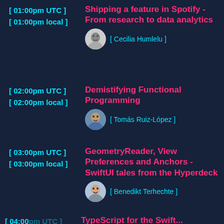[ 01:00pm UTC ] [ 01:00pm local ] | Shipping a feature in Spotify - From research to data analytics | [ Cecilia Humlelu ]
[ 02:00pm UTC ] [ 02:00pm local ] | Demistifying Functional Programming | [ Tomás Ruiz-López ]
[ 03:00pm UTC ] [ 03:00pm local ] | GeometryReader, View Preferences and Anchors - SwiftUI tales from the Hyperdeck | [ Benedikt Terhechte ]
[ 04:00pm UTC ] | TypeScript for the Swift...